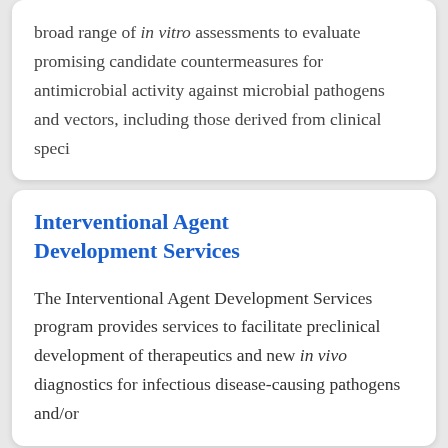broad range of in vitro assessments to evaluate promising candidate countermeasures for antimicrobial activity against microbial pathogens and vectors, including those derived from clinical speci
Interventional Agent Development Services
The Interventional Agent Development Services program provides services to facilitate preclinical development of therapeutics and new in vivo diagnostics for infectious disease-causing pathogens and/or